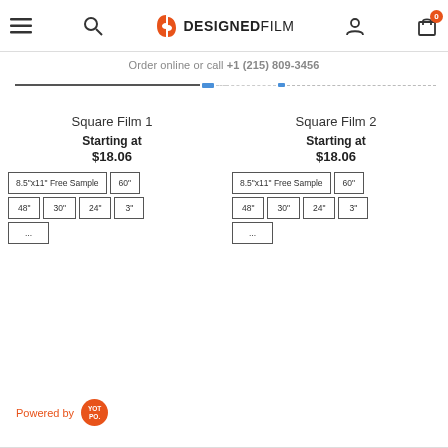DESIGNEDFILM — Order online or call +1 (215) 809-3456
Square Film 1
Starting at
$18.06
Square Film 2
Starting at
$18.06
Powered by YOTPO